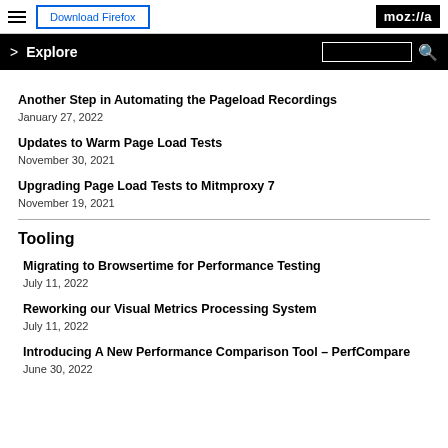Download Firefox | moz://a
Explore
Another Step in Automating the Pageload Recordings
January 27, 2022
Updates to Warm Page Load Tests
November 30, 2021
Upgrading Page Load Tests to Mitmproxy 7
November 19, 2021
Tooling
Migrating to Browsertime for Performance Testing
July 11, 2022
Reworking our Visual Metrics Processing System
July 11, 2022
Introducing A New Performance Comparison Tool – PerfCompare
June 30, 2022